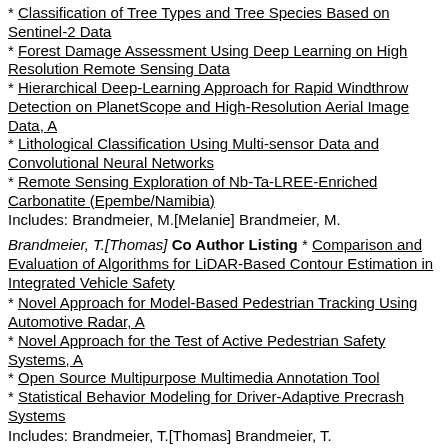* Classification of Tree Types and Tree Species Based on Sentinel-2 Data
* Forest Damage Assessment Using Deep Learning on High Resolution Remote Sensing Data
* Hierarchical Deep-Learning Approach for Rapid Windthrow Detection on PlanetScope and High-Resolution Aerial Image Data, A
* Lithological Classification Using Multi-sensor Data and Convolutional Neural Networks
* Remote Sensing Exploration of Nb-Ta-LREE-Enriched Carbonatite (Epembe/Namibia)
Includes: Brandmeier, M.[Melanie] Brandmeier, M.
Brandmeier, T.[Thomas] Co Author Listing
* Comparison and Evaluation of Algorithms for LiDAR-Based Contour Estimation in Integrated Vehicle Safety
* Novel Approach for Model-Based Pedestrian Tracking Using Automotive Radar, A
* Novel Approach for the Test of Active Pedestrian Safety Systems, A
* Open Source Multipurpose Multimedia Annotation Tool
* Statistical Behavior Modeling for Driver-Adaptive Precrash Systems
Includes: Brandmeier, T.[Thomas] Brandmeier, T.
Brandner, M. Co Author Listing * Real Time Tracking of